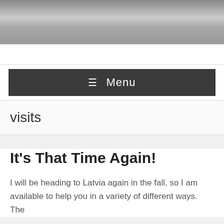[Figure (photo): A greyscale outdoor/landscape photo banner at the top of the page, showing a sky and horizon scene.]
≡ Menu
visits
It’s That Time Again!
I will be heading to Latvia again in the fall, so I am available to help you in a variety of different ways. The